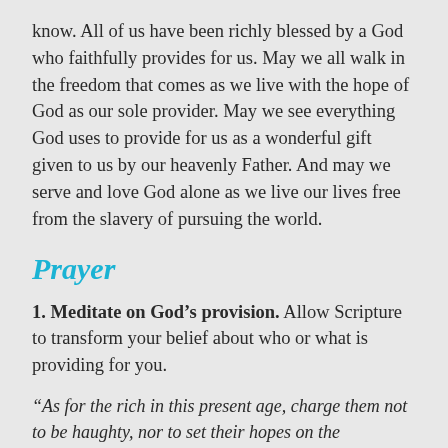know. All of us have been richly blessed by a God who faithfully provides for us. May we all walk in the freedom that comes as we live with the hope of God as our sole provider. May we see everything God uses to provide for us as a wonderful gift given to us by our heavenly Father. And may we serve and love God alone as we live our lives free from the slavery of pursuing the world.
Prayer
1. Meditate on God's provision. Allow Scripture to transform your belief about who or what is providing for you.
“As for the rich in this present age, charge them not to be haughty, nor to set their hopes on the uncertainty of